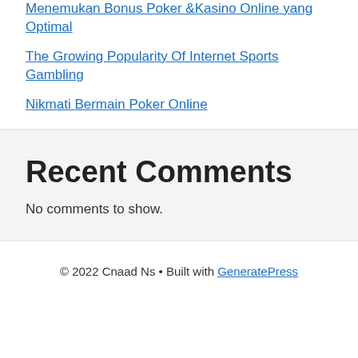Menemukan Bonus Poker &Kasino Online yang Optimal
The Growing Popularity Of Internet Sports Gambling
Nikmati Bermain Poker Online
Recent Comments
No comments to show.
© 2022 Cnaad Ns • Built with GeneratePress